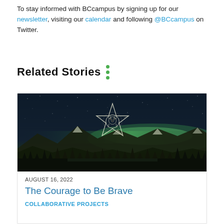To stay informed with BCcampus by signing up for our newsletter, visiting our calendar and following @BCcampus on Twitter.
Related Stories
[Figure (photo): Night sky photo with northern lights (aurora borealis) glowing green above snow-capped mountains and dark forest silhouette, with a decorative Indigenous-style star symbol overlaid in the sky]
AUGUST 16, 2022
The Courage to Be Brave
COLLABORATIVE PROJECTS